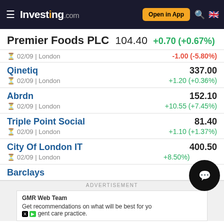Investing.com — Open in App
Premier Foods PLC 104.40 +0.70 (+0.67%)
02/09 | London   -1.00 (-5.80%)
Qinetiq   337.00
02/09 | London   +1.20 (+0.36%)
Abrdn   152.10
02/09 | London   +10.55 (+7.45%)
Triple Point Social   81.40
02/09 | London   +1.10 (+1.37%)
City Of London IT   400.50
02/09 | London   +8.50 (+2.17%)
Barclays   ...4
ADVERTISEMENT
GMR Web Team
Get recommendations on what will be best for your agent care practice.